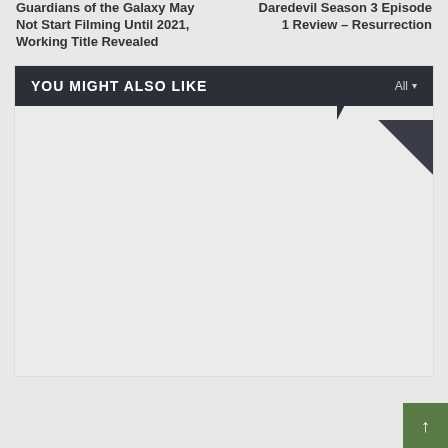Guardians of the Galaxy May Not Start Filming Until 2021, Working Title Revealed
Daredevil Season 3 Episode 1 Review – Resurrection
YOU MIGHT ALSO LIKE
All